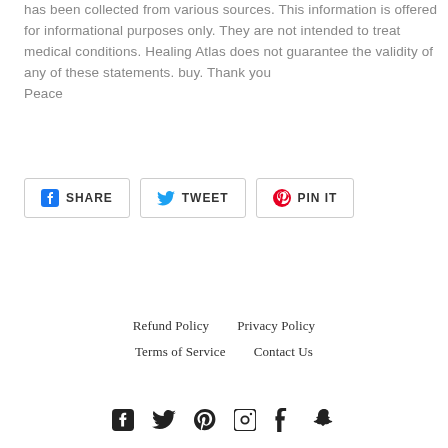has been collected from various sources. This information is offered for informational purposes only. They are not intended to treat medical conditions. Healing Atlas does not guarantee the validity of any of these statements. buy. Thank you
Peace
[Figure (infographic): Three social share buttons: Facebook SHARE, Twitter TWEET, Pinterest PIN IT]
Refund Policy   Privacy Policy   Terms of Service   Contact Us
[Figure (infographic): Social media icons: Facebook, Twitter, Pinterest, Instagram, Tumblr, Snapchat]